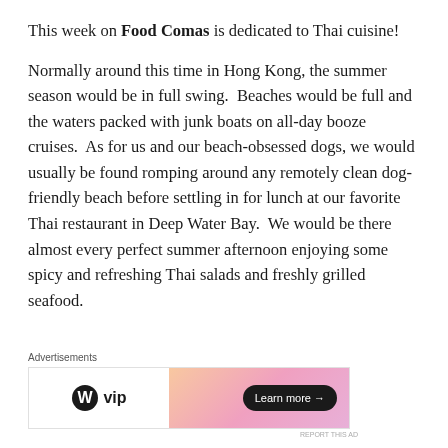This week on Food Comas is dedicated to Thai cuisine!
Normally around this time in Hong Kong, the summer season would be in full swing.  Beaches would be full and the waters packed with junk boats on all-day booze cruises.  As for us and our beach-obsessed dogs, we would usually be found romping around any remotely clean dog-friendly beach before settling in for lunch at our favorite Thai restaurant in Deep Water Bay.  We would be there almost every perfect summer afternoon enjoying some spicy and refreshing Thai salads and freshly grilled seafood.
[Figure (infographic): Advertisement banner for WordPress VIP with gradient pink/orange background and Learn more button]